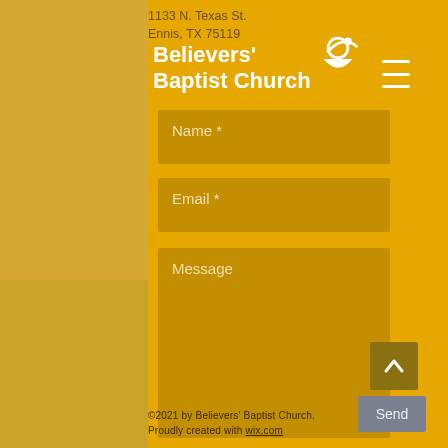[Figure (screenshot): Believers' Baptist Church website contact form screenshot showing logo with church name, address, navigation hamburger menu, Name field, Email field, Message field, Send button, scroll-up button, and footer copyright text on a golden yellow background.]
1133 N. Texas St.
Ennis, TX 75119
Believers'
Baptist Church
Name *
Email *
Message
Send
©2021 by Believers' Baptist Church. Proudly created with wix.com